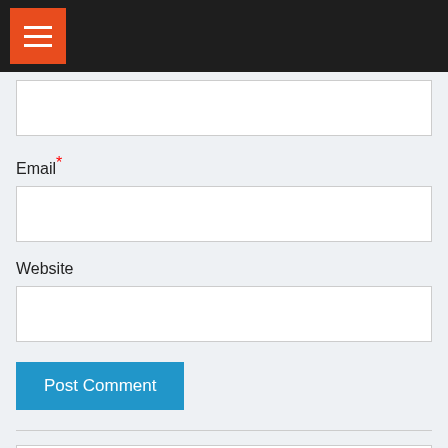[Figure (screenshot): Dark top navigation bar with orange hamburger menu icon]
Email *
Website
Post Comment
My Points
You need to be logged in to view your points.